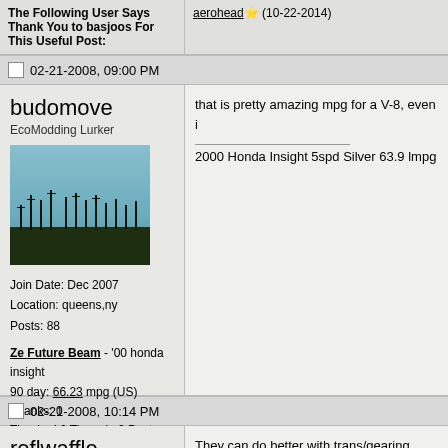The Following User Says Thank You to basjoos For This Useful Post: aerohead (10-22-2014)
02-21-2008, 09:00 PM
budomove
EcoModding Lurker
[Figure (photo): Outdoor photo showing antenna towers or bare trees silhouetted against a pale blue-gray sky]
Join Date: Dec 2007
Location: queens,ny
Posts: 88
Ze Future Beam - '00 honda insight
90 day: 66.23 mpg (US)
Thanks: 0
Thanked 0 Times in 0 Posts
that is pretty amazing mpg for a V-8, even i
2000 Honda Insight 5spd Silver 63.9 lmpg
02-21-2008, 10:14 PM
roflwaffle
Master EcoModder
They can do better with trans/gearing upgra